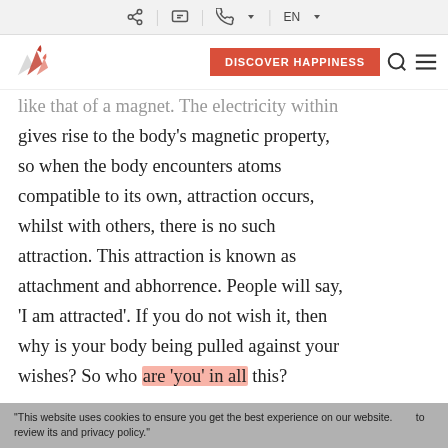Share | Chat | Call | EN
DISCOVER HAPPINESS [logo] [search] [menu]
like that of a magnet. The electricity within gives rise to the body's magnetic property, so when the body encounters atoms compatible to its own, attraction occurs, whilst with others, there is no such attraction. This attraction is known as attachment and abhorrence. People will say, 'I am attracted'. If you do not wish it, then why is your body being pulled against your wishes? So who are 'you' in all this?
"This website uses cookies to ensure you get the best experience on our website. to review its and privacy policy."